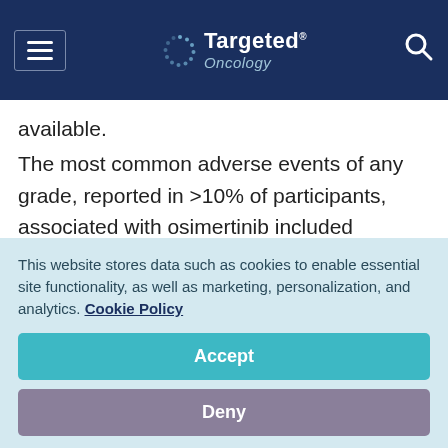Targeted Oncology
available.
The most common adverse events of any grade, reported in >10% of participants, associated with osimertinib included diarrhea (41%), rash (34%), dry skin (23%), and paronychia (22%). For those treated with platinum‑pemetrexed, the most common toxicities of any grade were nausea (49%),
This website stores data such as cookies to enable essential site functionality, as well as marketing, personalization, and analytics. Cookie Policy
Accept
Deny